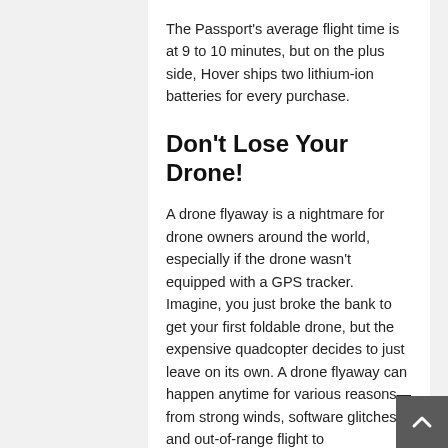The Passport's average flight time is at 9 to 10 minutes, but on the plus side, Hover ships two lithium-ion batteries for every purchase.
Don't Lose Your Drone!
A drone flyaway is a nightmare for drone owners around the world, especially if the drone wasn't equipped with a GPS tracker. Imagine, you just broke the bank to get your first foldable drone, but the expensive quadcopter decides to just leave on its own. A drone flyaway can happen anytime for various reasons—from strong winds, software glitches, and out-of-range flight to malfunctioning, a drained battery, and many more.